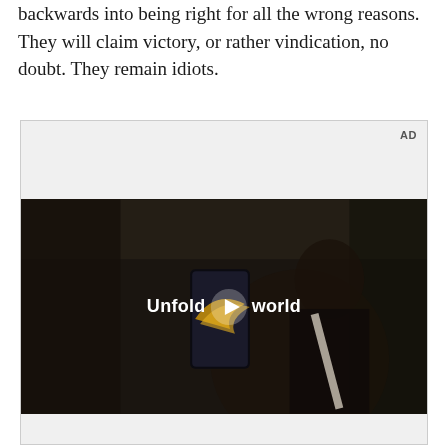available evidence just might have fallen ass backwards into being right for all the wrong reasons. They will claim victory, or rather vindication, no doubt. They remain idiots.
[Figure (screenshot): Advertisement video player showing a woman in a car holding a Samsung foldable phone. Text overlay reads 'Unfold your world' with a play button. AD label in top right corner.]